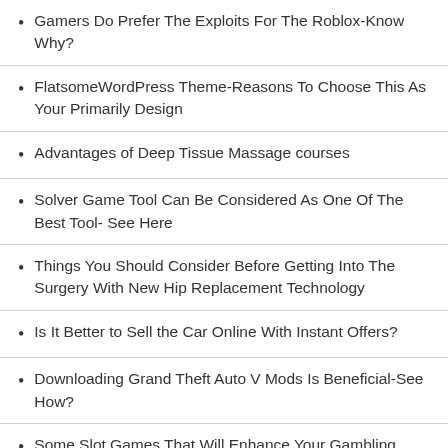Gamers Do Prefer The Exploits For The Roblox-Know Why?
FlatsomeWordPress Theme-Reasons To Choose This As Your Primarily Design
Advantages of Deep Tissue Massage courses
Solver Game Tool Can Be Considered As One Of The Best Tool- See Here
Things You Should Consider Before Getting Into The Surgery With New Hip Replacement Technology
Is It Better to Sell the Car Online With Instant Offers?
Downloading Grand Theft Auto V Mods Is Beneficial-See How?
Some Slot Games That Will Enhance Your Gambling Experience-See Here!
How to Guarantee You Make Money with Online Betting